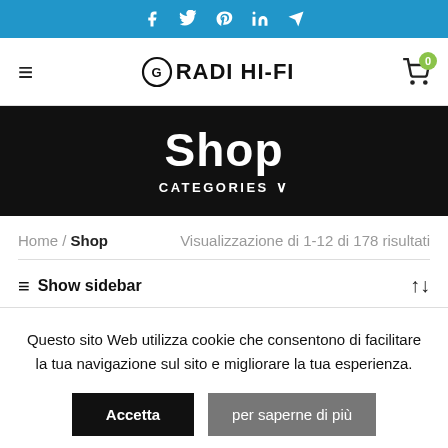Social icons: Facebook, Twitter, Pinterest, LinkedIn, Telegram
GRADI HI-FI
Shop — CATEGORIES
Home / Shop — Visualizzazione di 1-12 di 178 risultati
Show sidebar
Questo sito Web utilizza cookie che consentono di facilitare la tua navigazione sul sito e migliorare la tua esperienza.
Accetta — per saperne di più